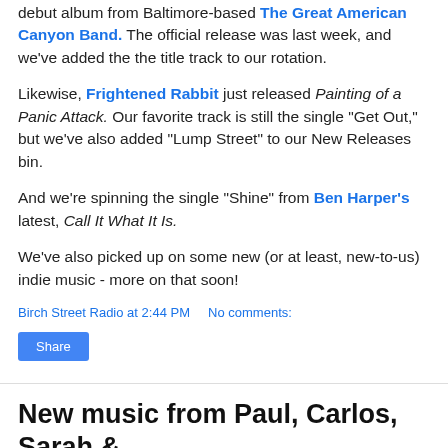You've heard us play early tracks from Only You Remain, the debut album from Baltimore-based The Great American Canyon Band. The official release was last week, and we've added the the title track to our rotation.
Likewise, Frightened Rabbit just released Painting of a Panic Attack. Our favorite track is still the single "Get Out," but we've also added "Lump Street" to our New Releases bin.
And we're spinning the single "Shine" from Ben Harper's latest, Call It What It Is.
We've also picked up on some new (or at least, new-to-us) indie music - more on that soon!
Birch Street Radio at 2:44 PM   No comments:
New music from Paul, Carlos, Sarah &